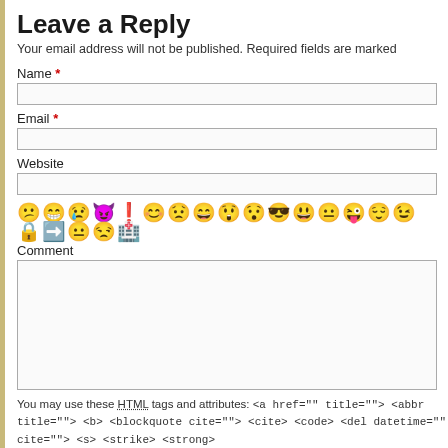Leave a Reply
Your email address will not be published. Required fields are marked
Name *
Email *
Website
[Figure (illustration): Row of emoji/smiley face icons in yellow and one teal icon]
Comment
You may use these HTML tags and attributes: <a href="" title=""> <abbr title=""> <b> <blockquote cite=""> <cite> <code> <del datetime="" cite=""> <s> <strike> <strong>
Post Comment